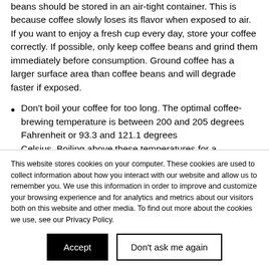beans should be stored in an air-tight container. This is because coffee slowly loses its flavor when exposed to air. If you want to enjoy a fresh cup every day, store your coffee correctly. If possible, only keep coffee beans and grind them immediately before consumption. Ground coffee has a larger surface area than coffee beans and will degrade faster if exposed.
Don't boil your coffee for too long. The optimal coffee-brewing temperature is between 200 and 205 degrees Fahrenheit or 93.3 and 121.1 degrees Celsius. Boiling above these temperatures for a...
This website stores cookies on your computer. These cookies are used to collect information about how you interact with our website and allow us to remember you. We use this information in order to improve and customize your browsing experience and for analytics and metrics about our visitors both on this website and other media. To find out more about the cookies we use, see our Privacy Policy.